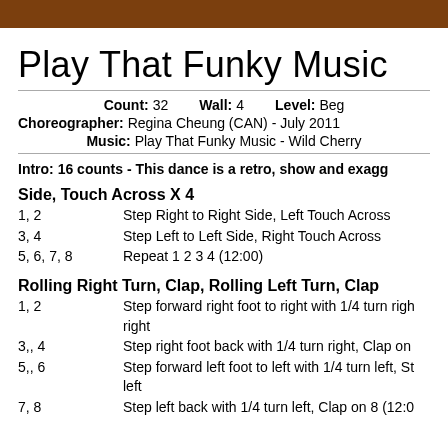Play That Funky Music
Count: 32   Wall: 4   Level: Beg
Choreographer: Regina Cheung (CAN) - July 2011
Music: Play That Funky Music - Wild Cherry
Intro: 16 counts - This dance is a retro, show and exagg
Side, Touch Across X 4
1, 2    Step Right to Right Side, Left Touch Across
3, 4    Step Left to Left Side, Right Touch Across
5, 6, 7, 8    Repeat 1 2 3 4 (12:00)
Rolling Right Turn, Clap, Rolling Left Turn, Clap
1, 2    Step forward right foot to right with 1/4 turn right
3,, 4    Step right foot back with 1/4 turn right, Clap on
5,, 6    Step forward left foot to left with 1/4 turn left, St left
7, 8    Step left back with 1/4 turn left, Clap on 8 (12:0